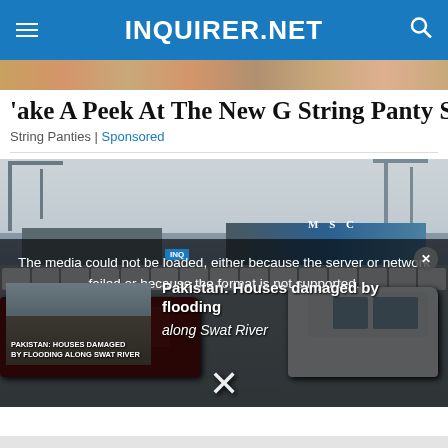INQUIRER.NET
[Figure (photo): Partial banner image showing a person's hair/face, cropped at top]
Take A Peek At The New G String Panty Sets
String Panties | Sponsored
[Figure (photo): Large car lot with hundreds of white SUVs/trucks parked at a port with cranes and cargo ships in background. MSC shipping visible. A dark red/maroon SUV is in the foreground.]
The media could not be loaded, either because the server or network failed or because the format is not supported.
[Figure (screenshot): Video thumbnail showing Pakistan houses damaged by flooding along Swat River]
Pakistan: Houses damaged by flooding along Swat River